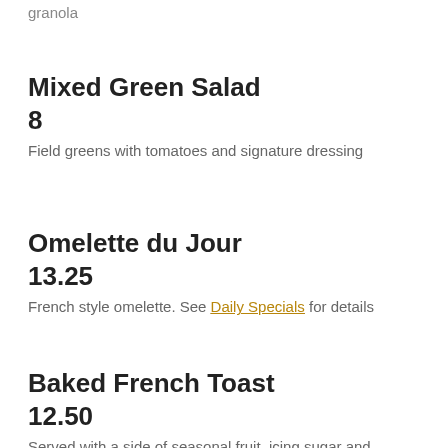granola
Mixed Green Salad
8
Field greens with tomatoes and signature dressing
Omelette du Jour
13.25
French style omelette. See Daily Specials for details
Baked French Toast
12.50
Served with a side of seasonal fruit, icing sugar and